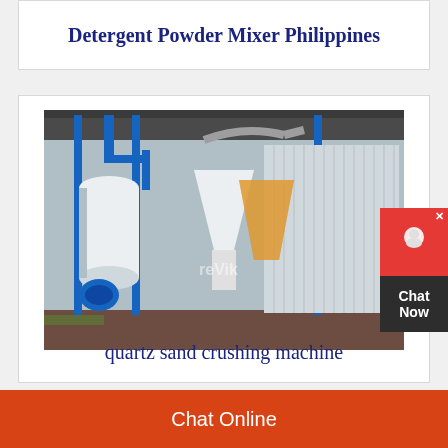Detergent Powder Mixer Philippines
[Figure (photo): Industrial quartz sand crushing machine with blue metal frames, white cylindrical equipment, hopper/cone structures, and corrugated metal panels in an outdoor industrial facility]
quartz sand crushing machine
Chat Online